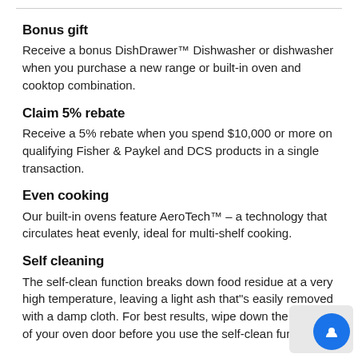Bonus gift
Receive a bonus DishDrawer™ Dishwasher or dishwasher when you purchase a new range or built-in oven and cooktop combination.
Claim 5% rebate
Receive a 5% rebate when you spend $10,000 or more on qualifying Fisher & Paykel and DCS products in a single transaction.
Even cooking
Our built-in ovens feature AeroTech™ – a technology that circulates heat evenly, ideal for multi-shelf cooking.
Self cleaning
The self-clean function breaks down food residue at a very high temperature, leaving a light ash that"s easily removed with a damp cloth. For best results, wipe down the inside of your oven door before you use the self-clean function.